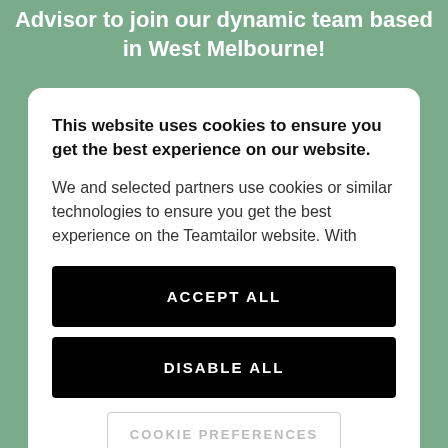Advisor to join our dynamic team based in West Melbourne!
This website uses cookies to ensure you get the best experience on our website.
We and selected partners use cookies or similar technologies to ensure you get the best experience on the Teamtailor website. With
ACCEPT ALL
DISABLE ALL
COOKIE PREFERENCES